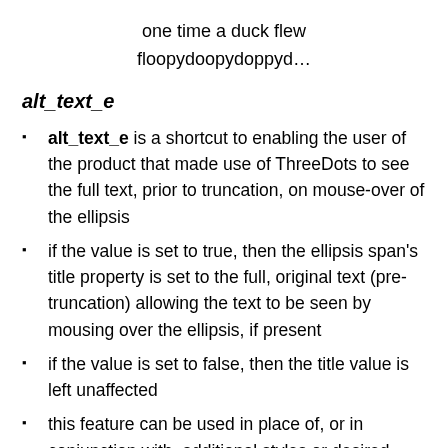one time a duck flew floopydoopydoppyd…
alt_text_e
alt_text_e is a shortcut to enabling the user of the product that made use of ThreeDots to see the full text, prior to truncation, on mouse-over of the ellipsis
if the value is set to true, then the ellipsis span's title property is set to the full, original text (pre-truncation) allowing the text to be seen by mousing over the ellipsis, if present
if the value is set to false, then the title value is left unaffected
this feature can be used in place of, or in conjunction with, additional styles or desired behaviors associated